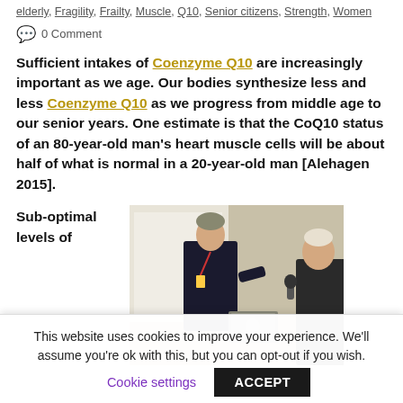elderly, Fragility, Frailty, Muscle, Q10, Senior citizens, Strength, Women
0 Comment
Sufficient intakes of Coenzyme Q10 are increasingly important as we age. Our bodies synthesize less and less Coenzyme Q10 as we progress from middle age to our senior years. One estimate is that the CoQ10 status of an 80-year-old man’s heart muscle cells will be about half of what is normal in a 20-year-old man [Alehagen 2015].
Sub-optimal levels of
[Figure (photo): Two men at a conference or presentation — one standing in a dark suit with a lanyard, another holding a microphone, with a laptop visible in the background.]
This website uses cookies to improve your experience. We’ll assume you’re ok with this, but you can opt-out if you wish.
Cookie settings    ACCEPT